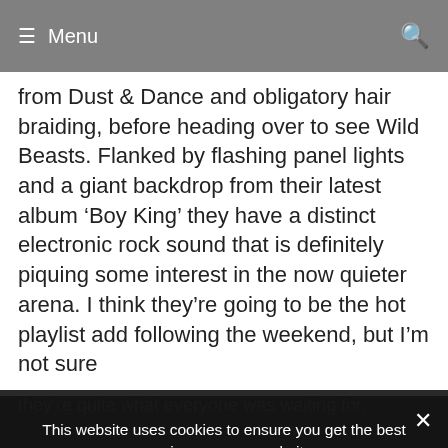≡ Menu
from Dust & Dance and obligatory hair braiding, before heading over to see Wild Beasts. Flanked by flashing panel lights and a giant backdrop from their latest album 'Boy King' they have a distinct electronic rock sound that is definitely piquing some interest in the now quieter arena. I think they're going to be the hot playlist add following the weekend, but I'm not sure they're quite what everyone was waiting for.
Groove Armada pick it back up with a solid set of classic dance music, and I know it's specifically listed as a DJ set but they really are holed up at the back of the stage behind a giant table. Why can't DJ's be at the
This website uses cookies to ensure you get the best experience on our website.
Privacy Preferences
I Agree